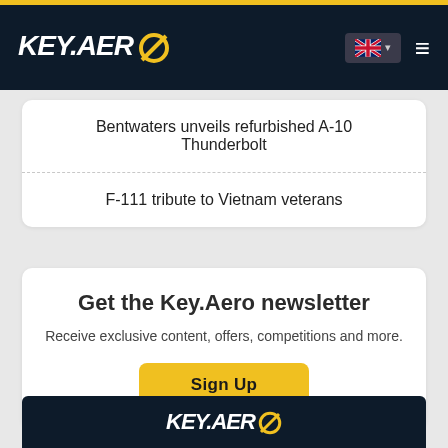KEY.AERO
Bentwaters unveils refurbished A-10 Thunderbolt
F-111 tribute to Vietnam veterans
Get the Key.Aero newsletter
Receive exclusive content, offers, competitions and more.
Sign Up
[Figure (logo): KEY.AERO logo on dark background at bottom of page]